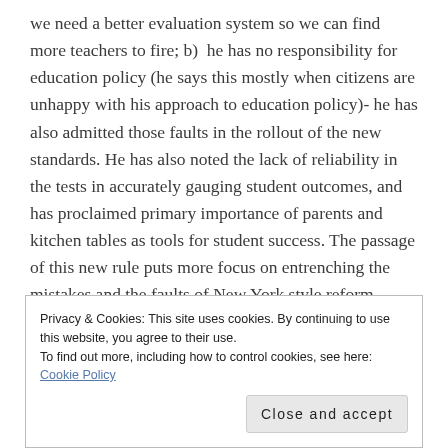we need a better evaluation system so we can find more teachers to fire; b) he has no responsibility for education policy (he says this mostly when citizens are unhappy with his approach to education policy)- he has also admitted those faults in the rollout of the new standards. He has also noted the lack of reliability in the tests in accurately gauging student outcomes, and has proclaimed primary importance of parents and kitchen tables as tools for student success. The passage of this new rule puts more focus on entrenching the mistakes and the faults of New York style reform, while ignoring the issues of primary importance. This rule is not an indicator of effective or
Privacy & Cookies: This site uses cookies. By continuing to use this website, you agree to their use.
To find out more, including how to control cookies, see here: Cookie Policy
Close and accept